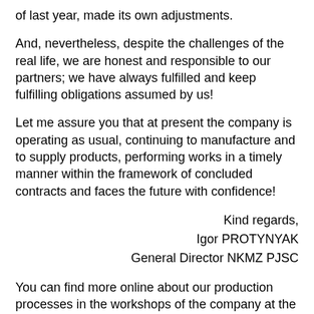of last year, made its own adjustments.
And, nevertheless, despite the challenges of the real life, we are honest and responsible to our partners; we have always fulfilled and keep fulfilling obligations assumed by us!
Let me assure you that at present the company is operating as usual, continuing to manufacture and to supply products, performing works in a timely manner within the framework of concluded contracts and faces the future with confidence!
Kind regards,
Igor PROTYNYAK
General Director NKMZ PJSC
You can find more online about our production processes in the workshops of the company at the